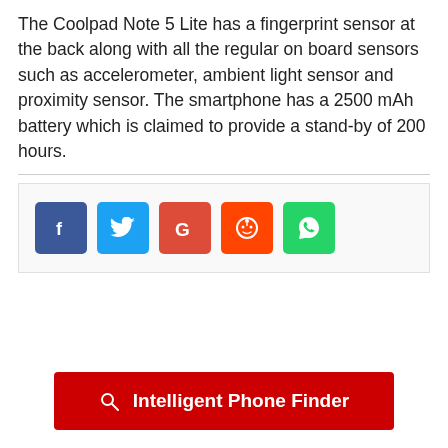The Coolpad Note 5 Lite has a fingerprint sensor at the back along with all the regular on board sensors such as accelerometer, ambient light sensor and proximity sensor. The smartphone has a 2500 mAh battery which is claimed to provide a stand-by of 200 hours.
[Figure (infographic): Social share buttons: Facebook (blue), Twitter (light blue), Google (red), Reddit (orange), WhatsApp (green)]
Intelligent Phone Finder